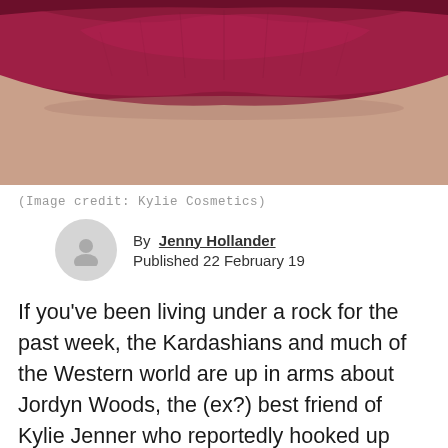[Figure (photo): Close-up photo of lips wearing dark crimson/burgundy lipstick from Kylie Cosmetics]
(Image credit: Kylie Cosmetics)
By  Jenny Hollander
Published 22 February 19
If you've been living under a rock for the past week, the Kardashians and much of the Western world are up in arms about Jordyn Woods, the (ex?) best friend of Kylie Jenner who reportedly hooked up with Tristan Thompson, a.k.a. Khloé Kardashian's boyfriend and dad to her daughter True. And nowhere is this clearer than on Kylie's makeup website, where reviews for Kylie Cosmetics' "Jordy" lip kit—which was slashed in price